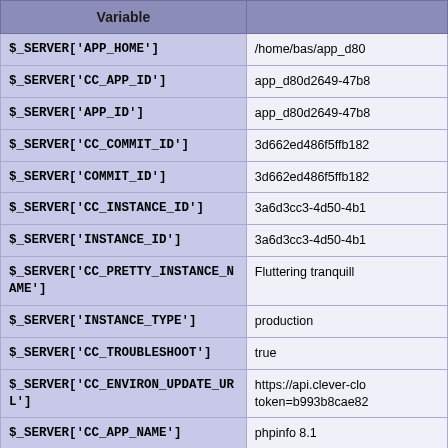| Variable |  |
| --- | --- |
| $_SERVER['APP_HOME'] | /home/bas/app_d80… |
| $_SERVER['CC_APP_ID'] | app_d80d2649-47b8… |
| $_SERVER['APP_ID'] | app_d80d2649-47b8… |
| $_SERVER['CC_COMMIT_ID'] | 3d662ed486f5ffb182… |
| $_SERVER['COMMIT_ID'] | 3d662ed486f5ffb182… |
| $_SERVER['CC_INSTANCE_ID'] | 3a6d3cc3-4d50-4b1… |
| $_SERVER['INSTANCE_ID'] | 3a6d3cc3-4d50-4b1… |
| $_SERVER['CC_PRETTY_INSTANCE_NAME'] | Fluttering tranquill… |
| $_SERVER['INSTANCE_TYPE'] | production |
| $_SERVER['CC_TROUBLESHOOT'] | true |
| $_SERVER['CC_ENVIRON_UPDATE_URL'] | https://api.clever-clo…
token=b993b8cae82… |
| $_SERVER['CC_APP_NAME'] | phpinfo 8.1 |
| $_SERVER['CC_REVERSE_PROXY_IPS'] | 62.210.112.171,62.2…
1,163.172.235.156,1…
17.109,46.252.181.1…
2.117.194,46.252.18…
5.42.117.199,185.42…
8.48.161.14,208.48.…
.230.50.217,188.165… |
| $_SERVER['CC_ENVIRON_UPDATE_TOKEN'] | b993b8cae82c4cb… |